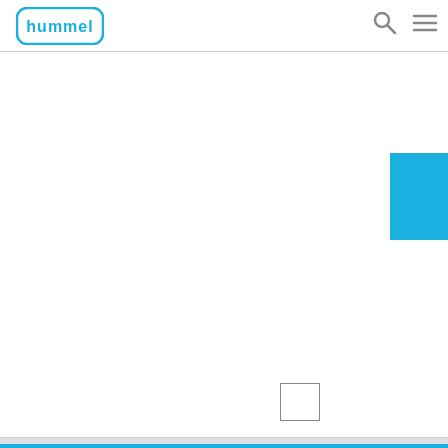Hummel logo with search and menu icons
[Figure (logo): Hummel company logo in blue, showing stylized text 'hummel' inside a rounded rectangle outline]
[Figure (other): Blue rectangular block on the right side of the page, partially cut off]
[Figure (other): Small empty outlined rectangle near the bottom center-right of the page]